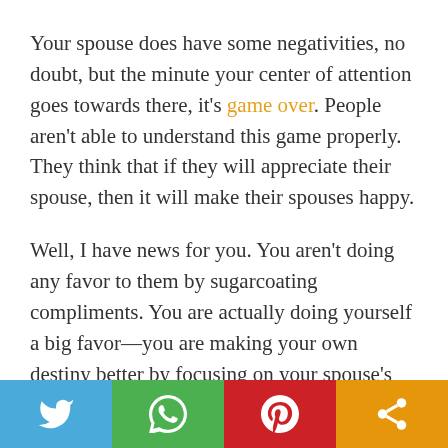Your spouse does have some negativities, no doubt, but the minute your center of attention goes towards there, it's game over. People aren't able to understand this game properly. They think that if they will appreciate their spouse, then it will make their spouses happy.
Well, I have news for you. You aren't doing any favor to them by sugarcoating compliments. You are actually doing yourself a big favor—you are making your own destiny better by focusing on your spouse's positivities. It will first make YOU happy and then your spouse.
[Figure (infographic): Social sharing bar with four buttons: Twitter (blue), WhatsApp (green), Pinterest (red), Share (orange)]